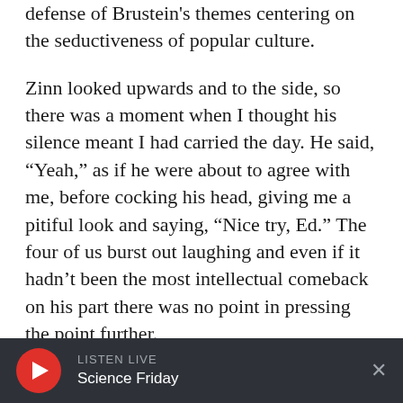defense of Brustein's themes centering on the seductiveness of popular culture.
Zinn looked upwards and to the side, so there was a moment when I thought his silence meant I had carried the day. He said, “Yeah,” as if he were about to agree with me, before cocking his head, giving me a pitiful look and saying, “Nice try, Ed.” The four of us burst out laughing and even if it hadn’t been the most intellectual comeback on his part there was no point in pressing the point further.
He was also a raconteur with terrific comic
LISTEN LIVE
Science Friday